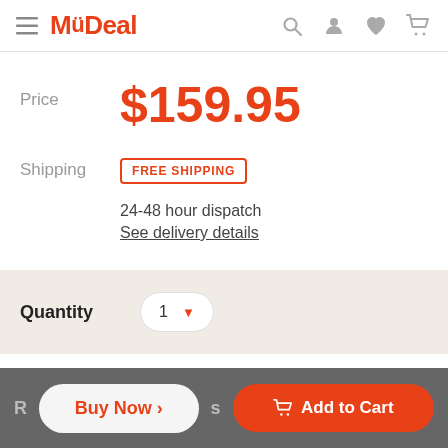MyDeal
Price $159.95
Shipping FREE SHIPPING
24-48 hour dispatch
See delivery details
Quantity 1
Buy Now > Add to Cart